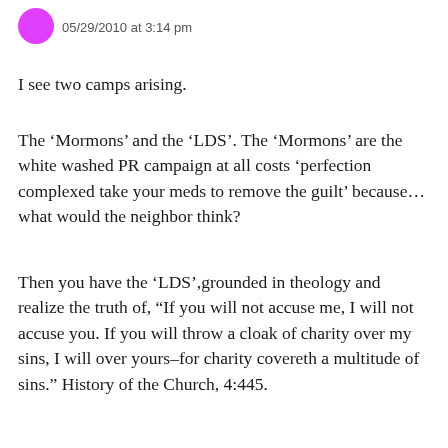05/29/2010 at 3:14 pm
I see two camps arising.
The ‘Mormons’ and the ‘LDS’. The ‘Mormons’ are the white washed PR campaign at all costs ‘perfection complexed take your meds to remove the guilt’ because…what would the neighbor think?
Then you have the ‘LDS’,grounded in theology and realize the truth of, “If you will not accuse me, I will not accuse you. If you will throw a cloak of charity over my sins, I will over yours–for charity covereth a multitude of sins.” History of the Church, 4:445.